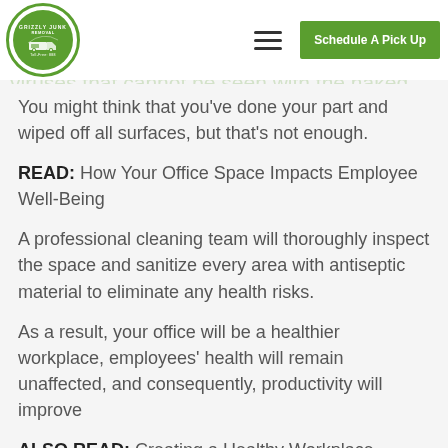Office spaces are filled with bacteria, germs, and viruses that cannot be seen with the naked eye, leading to health problems.
You might think that you've done your part and wiped off all surfaces, but that's not enough.
READ: How Your Office Space Impacts Employee Well-Being
A professional cleaning team will thoroughly inspect the space and sanitize every area with antiseptic material to eliminate any health risks.
As a result, your office will be a healthier workplace, employees' health will remain unaffected, and consequently, productivity will improve
ALSO READ: Creating a Healthy Workplace Environment for Your Employees